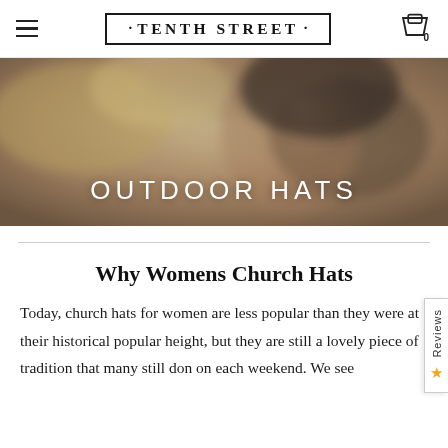TENTH STREET
[Figure (photo): Hero banner image of a woman wearing a hat outdoors, blurred background with warm tones]
OUTDOOR HATS
Why Womens Church Hats
Today, church hats for women are less popular than they were at their historical popular height, but they are still a lovely piece of tradition that many still don on each weekend. We see